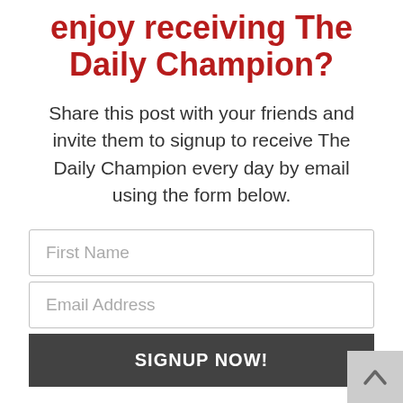enjoy receiving The Daily Champion?
Share this post with your friends and invite them to signup to receive The Daily Champion every day by email using the form below.
[Figure (other): Sign-up form with First Name field, Email Address field, and SIGNUP NOW! button]
[Figure (other): Back to top button arrow in bottom-right corner]